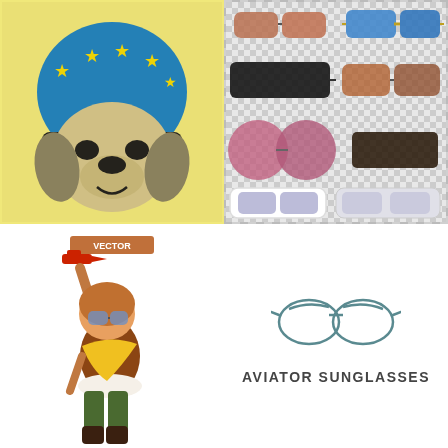[Figure (illustration): A dog wearing a blue helmet with yellow stars, illustrated in a pop-art style with yellow background.]
[Figure (illustration): A collection of six pairs of sunglasses in various styles and colors on a transparent checkered background.]
[Figure (illustration): A cartoon child aviator character holding a toy red plane aloft, wearing a brown leather helmet, goggles, yellow scarf, and green pants, with a VECTOR banner above.]
[Figure (illustration): Simple line-art icon of aviator sunglasses in teal/gray color.]
AVIATOR SUNGLASSES